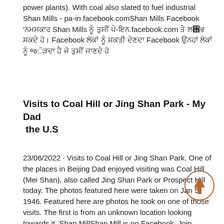power plants). With coal also slated to fuel industrial Shan Mills - pa-in.facebook.comShan Mills Facebook 'ਨਮਸਕਾਰ Shan Mills ਨੂੰ ਤੁਸੀਂ ਪੇ-ਇਨ.facebook.com ਤੇ ਲ਻ਭ ਸਕਦੇ ਹੋ। Facebook ਲੋਕਾਂ ਨੂੰ ਸ਼ਕਤੀ ਦੇਣਦਾ Facebook ਉਨਹਾਂ ਲੋਕਾਂ ਨੂੰ જੋੜਦਾ ਹੈ ਜੋ ਤੁਸੀਂ ਜਾਣਦੇ ਹੋ
Visits to Coal Hill or Jing Shan Park - My Dad the U.S
23/06/2022 · Visits to Coal Hill or Jing Shan Park. One of the places in Beijing Dad enjoyed visiting was Coal Hill (Mei Shan), also called Jing Shan Park or Prospect Hill today. The photos featured here were taken on Jan 5, 1946. Featured here are photos he took on one of those visits. The first is from an unknown location looking towards it. Shan MillShan Mill is on Facebook. Join Facebook to connect with Shan Mill and others you may know. Facebook gives people the power to share and makes the world costofcrusher: coal fired power plant equipmentPosts Related to types of equipment for open